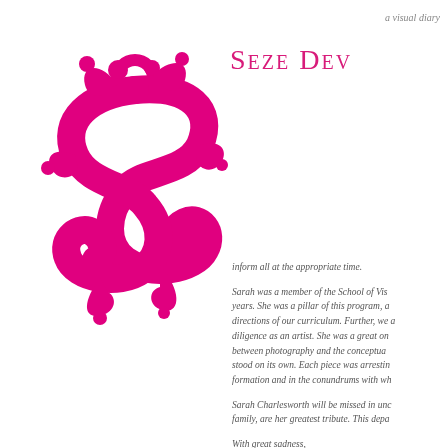a visual diary
Seze Dev
[Figure (illustration): Decorative magenta/pink swirling S-shaped ornamental flourish logo]
inform all at the appropriate time.

Sarah was a member of the School of Vi... years. She was a pillar of this program, a... directions of our curriculum. Further, we a... diligence as an artist. She was a great on... between photography and the conceptua... stood on its own. Each piece was arrestin... formation and in the conundrums with wh...

Sarah Charlesworth will be missed in unc... family, are her greatest tribute. This depa...

With great sadness,

Charles H. Traub